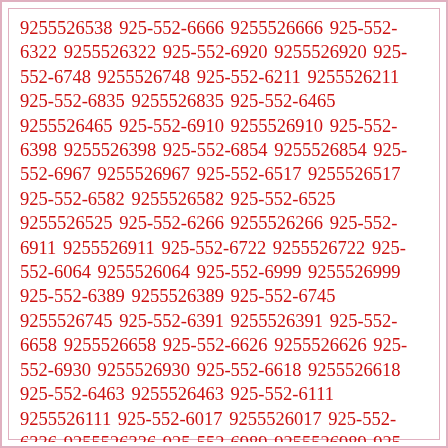9255526538 925-552-6666 9255526666 925-552-6322 9255526322 925-552-6920 9255526920 925-552-6748 9255526748 925-552-6211 9255526211 925-552-6835 9255526835 925-552-6465 9255526465 925-552-6910 9255526910 925-552-6398 9255526398 925-552-6854 9255526854 925-552-6967 9255526967 925-552-6517 9255526517 925-552-6582 9255526582 925-552-6525 9255526525 925-552-6266 9255526266 925-552-6911 9255526911 925-552-6722 9255526722 925-552-6064 9255526064 925-552-6999 9255526999 925-552-6389 9255526389 925-552-6745 9255526745 925-552-6391 9255526391 925-552-6658 9255526658 925-552-6626 9255526626 925-552-6930 9255526930 925-552-6618 9255526618 925-552-6463 9255526463 925-552-6111 9255526111 925-552-6017 9255526017 925-552-6336 9255526336 925-552-6989 9255526989 925-552-6743 9255526743 925-552-6468 9255526468 925-552-6630 9255526630 925-